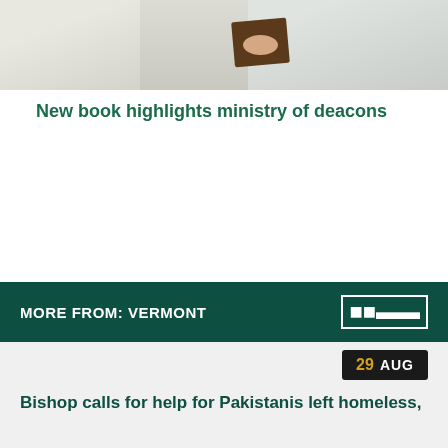[Figure (photo): Two or more people in white clerical robes, one holding a book, photographed from the chest down]
New book highlights ministry of deacons
‹ Back to Vermont Catholic Magazine
MORE FROM: VERMONT
29 AUG
Bishop calls for help for Pakistanis left homeless,